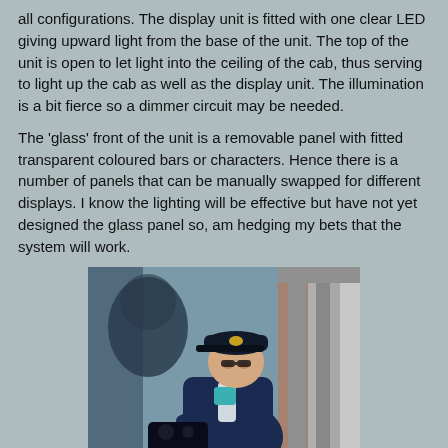all configurations. The display unit is fitted with one clear LED giving upward light from the base of the unit. The top of the unit is open to let light into the ceiling of the cab, thus serving to light up the cab as well as the display unit. The illumination is a bit fierce so a dimmer circuit may be needed.
The 'glass' front of the unit is a removable panel with fitted transparent coloured bars or characters. Hence there is a number of panels that can be manually swapped for different displays. I know the lighting will be effective but have not yet designed the glass panel so, am hedging my bets that the system will work.
[Figure (photo): Close-up photograph of a model train driver figure in a dark blue uniform and cap, seated in a locomotive cab, viewed through an open window/cab frame. The background shows blurred model scenery.]